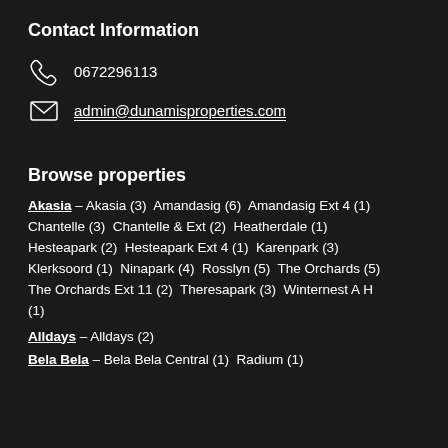Contact Information
0672296113
admin@dunamisproperties.com
Browse properties
Akasia – Akasia (3) Amandasig (6) Amandasig Ext 4 (1) Chantelle (3) Chantelle & Ext (2) Heatherdale (1) Hesteapark (2) Hesteapark Ext 4 (1) Karenpark (3) Klerksoord (1) Ninapark (4) Rosslyn (5) The Orchards (5) The Orchards Ext 11 (2) Theresapark (3) Winternest A H (1)
Alldays – Alldays (2)
Bela Bela – Bela Bela Central (1) Radium (1)